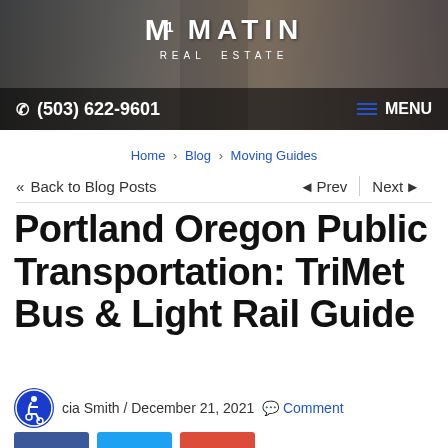[Figure (screenshot): Matin Real Estate website header banner with interior room background photo, logo at top center reading 'M1 MATIN REAL ESTATE', phone number (503) 622-9601 on bottom left, and MENU button on bottom right]
Home > Blog > Moving Guides
<< Back to Blog Posts    < Prev  |  Next >
Portland Oregon Public Transportation: TriMet Bus & Light Rail Guide
cia Smith / December 21, 2021  Comment